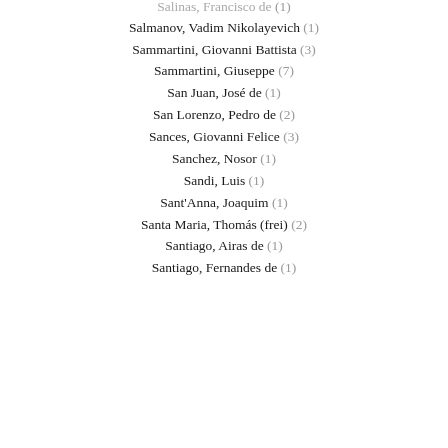Salinas, Francisco de (1)
Salmanov, Vadim Nikolayevich (1)
Sammartini, Giovanni Battista (3)
Sammartini, Giuseppe (7)
San Juan, José de (1)
San Lorenzo, Pedro de (2)
Sances, Giovanni Felice (3)
Sanchez, Nosor (1)
Sandi, Luis (1)
Sant'Anna, Joaquim (1)
Santa Maria, Thomás (frei) (2)
Santiago, Airas de (1)
Santiago, Fernandes de (1)